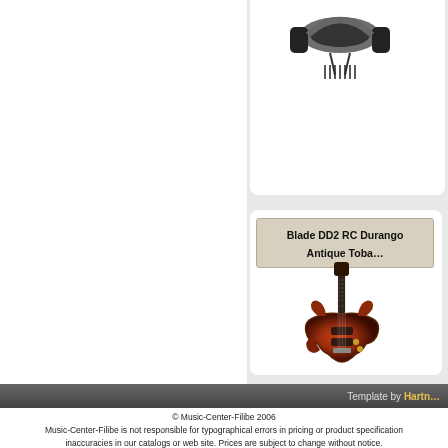[Figure (photo): Partial view of headphones product card at top right]
Blade DD2 RC Durango Antique Toba…
[Figure (photo): Electric guitar (Blade DD2 RC Durango Antique Tobacco finish) shown vertically, red-orange burst finish]
Template by Hartn…
© Music-Center-Filibe 2006
Music-Center-Filibe is not responsible for typographical errors in pricing or product specification inaccuracies in our catalogs or web site. Prices are subject to change without notice.
Parse Time: 0.104s